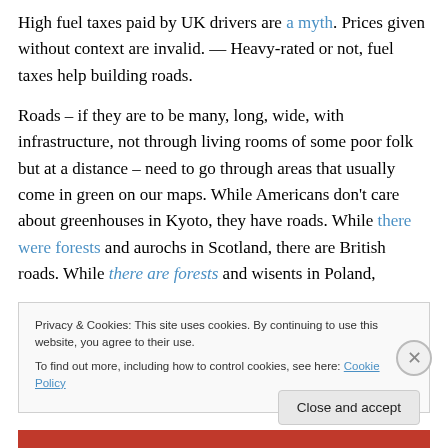High fuel taxes paid by UK drivers are a myth. Prices given without context are invalid. — Heavy-rated or not, fuel taxes help building roads.
Roads – if they are to be many, long, wide, with infrastructure, not through living rooms of some poor folk but at a distance – need to go through areas that usually come in green on our maps. While Americans don't care about greenhouses in Kyoto, they have roads. While there were forests and aurochs in Scotland, there are British roads. While there are forests and wisents in Poland,
Privacy & Cookies: This site uses cookies. By continuing to use this website, you agree to their use.
To find out more, including how to control cookies, see here: Cookie Policy